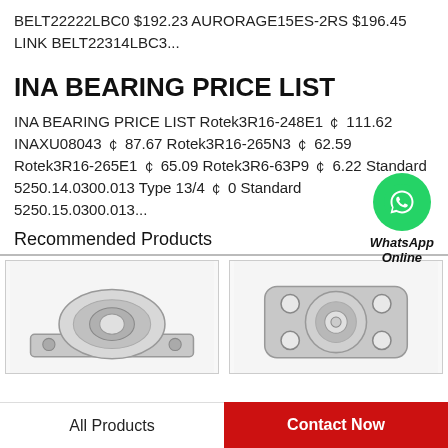BELT22222LBC0 $192.23 AURORAGE15ES-2RS $196.45 LINK BELT22314LBC3...
INA BEARING PRICE LIST
INA BEARING PRICE LIST Rotek3R16-248E1 ￠ 111.62 INAXU08043 ￠ 87.67 Rotek3R16-265N3 ￠ 62.59 Rotek3R16-265E1 ￠ 65.09 Rotek3R6-63P9 ￠ 6.22 Standard 5250.14.0300.013 Type 13/4 ￠ 0 Standard 5250.15.0300.013...
[Figure (logo): WhatsApp green circle icon with phone handset, labeled WhatsApp Online]
Recommended Products
[Figure (photo): Bearing unit product photo - pillow block bearing, grey metallic]
[Figure (photo): Bearing unit product photo - flange bearing unit with two bolt holes, grey metallic]
All Products
Contact Now